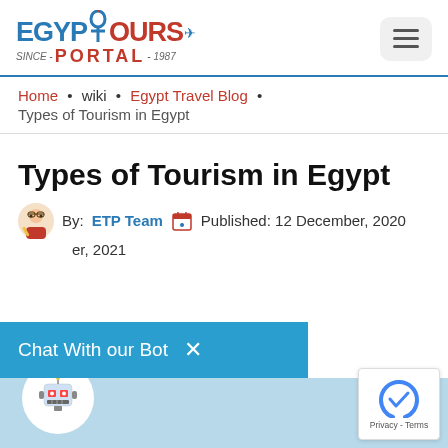[Figure (logo): Egypt Tours Portal logo with ankh symbol, airplane icon, teal and red text, 'SINCE-PORTAL-1987']
Egypt Tours Portal | Since 1987
Home • wiki • Egypt Travel Blog • Types of Tourism in Egypt
Types of Tourism in Egypt
By: ETP Team  Published: 12 December, 2020
er, 2021
[Figure (screenshot): Chat With our Bot overlay banner in teal blue with X close button]
[Figure (illustration): Robot bot icon in white circle on light blue background]
[Figure (other): reCAPTCHA badge with Privacy - Terms text]